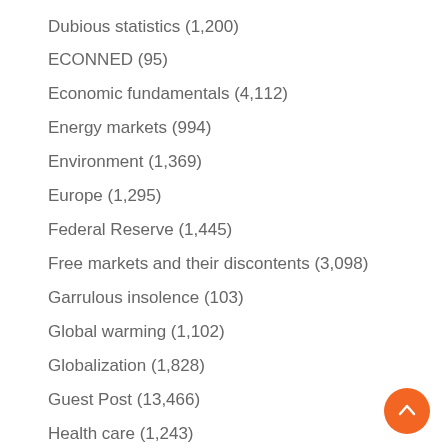Dubious statistics (1,200)
ECONNED (95)
Economic fundamentals (4,112)
Energy markets (994)
Environment (1,369)
Europe (1,295)
Federal Reserve (1,445)
Free markets and their discontents (3,098)
Garrulous insolence (103)
Global warming (1,102)
Globalization (1,828)
Guest Post (13,466)
Health care (1,243)
Hedge funds (495)
Income disparity (2,382)
India (138)
Infrastructure (222)